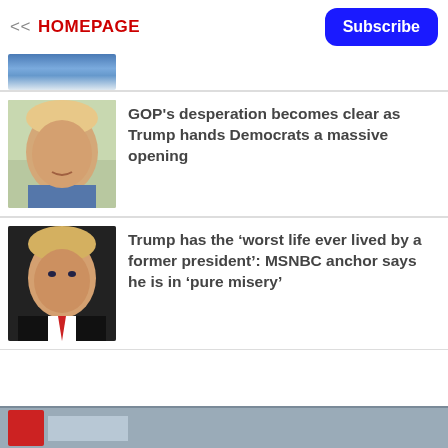<< HOMEPAGE   Subscribe
[Figure (photo): Partial photo of a person at top, cropped.]
[Figure (photo): Photo of Donald Trump in suit outdoors.]
GOP's desperation becomes clear as Trump hands Democrats a massive opening
[Figure (photo): Photo of Donald Trump in dark suit with red tie.]
Trump has the ‘worst life ever lived by a former president’: MSNBC anchor says he is in ‘pure misery’
[Figure (photo): Partial bottom strip with gray background and partial image.]